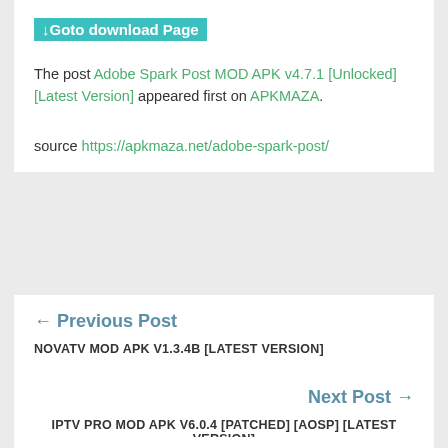↓Goto download Page
The post Adobe Spark Post MOD APK v4.7.1 [Unlocked] [Latest Version] appeared first on APKMAZA.
source https://apkmaza.net/adobe-spark-post/
← Previous Post
NOVATV MOD APK V1.3.4B [LATEST VERSION]
Next Post →
IPTV PRO MOD APK V6.0.4 [PATCHED] [AOSP] [LATEST VERSION]